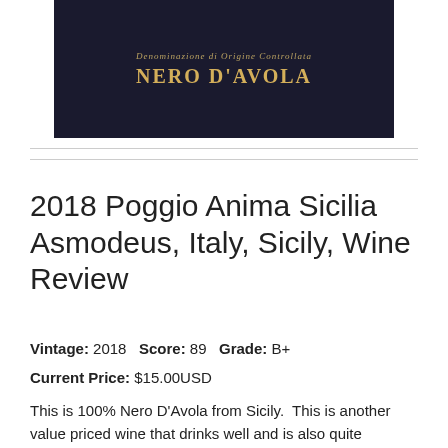[Figure (photo): Dark wine bottle label showing 'Nero d'Avola' in gold lettering on a dark background]
2018 Poggio Anima Sicilia Asmodeus, Italy, Sicily, Wine Review
Vintage: 2018   Score: 89   Grade: B+
Current Price: $15.00USD
This is 100% Nero D'Avola from Sicily.  This is another value priced wine that drinks well and is also quite